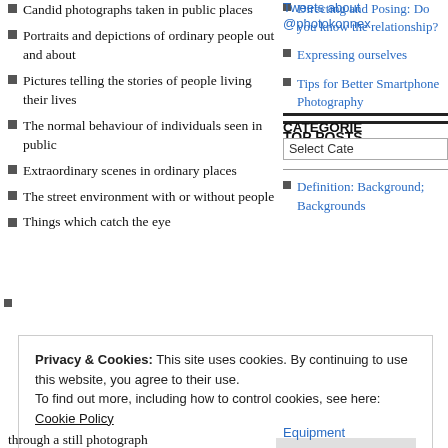Candid photographs taken in public places
Portraits and depictions of ordinary people out and about
Pictures telling the stories of people living their lives
The normal behaviour of individuals seen in public
Extraordinary scenes in ordinary places
The street environment with or without people
Things which catch the eye
Directing and Posing: Do you know the relationship?
Expressing ourselves
Tips for Better Smartphone Photography
CATEGORIES
TOP POSTS & PAGES
Definition: Background; Backgrounds
Privacy & Cookies: This site uses cookies. By continuing to use this website, you agree to their use.
To find out more, including how to control cookies, see here: Cookie Policy
Close and accept
through a still photograph